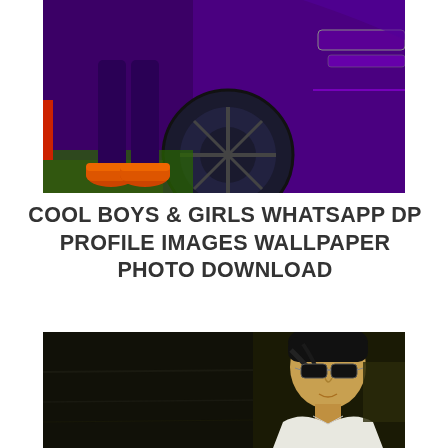[Figure (photo): Person wearing orange sneakers and dark purple/blue pants standing next to a large purple car wheel/tire. Background is dark purple.]
COOL BOYS & GIRLS WHATSAPP DP PROFILE IMAGES WALLPAPER PHOTO DOWNLOAD
[Figure (photo): Young man wearing sunglasses and a white shirt, photographed in a dark, moody setting with olive/dark tones.]